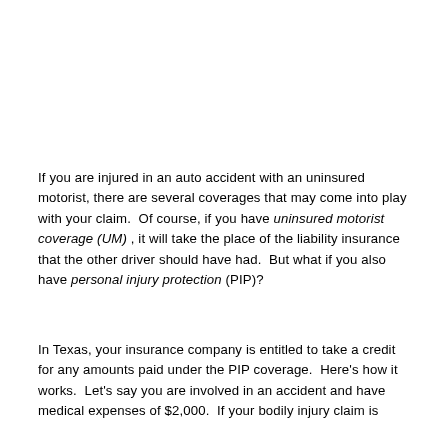If you are injured in an auto accident with an uninsured motorist, there are several coverages that may come into play with your claim.  Of course, if you have uninsured motorist coverage (UM) , it will take the place of the liability insurance that the other driver should have had.  But what if you also have personal injury protection (PIP)?
In Texas, your insurance company is entitled to take a credit for any amounts paid under the PIP coverage.  Here's how it works.  Let's say you are involved in an accident and have medical expenses of $2,000.  If your bodily injury claim is